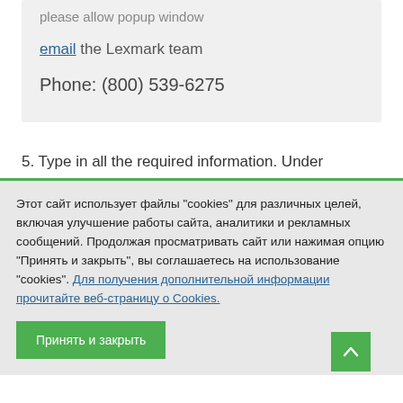please allow popup window
email the Lexmark team
Phone: (800) 539-6275
5. Type in all the required information. Under
Этот сайт использует файлы "cookies" для различных целей, включая улучшение работы сайта, аналитики и рекламных сообщений. Продолжая просматривать сайт или нажимая опцию "Принять и закрыть", вы соглашаетесь на использование "cookies". Для получения дополнительной информации прочитайте веб-страницу о Cookies.
Принять и закрыть